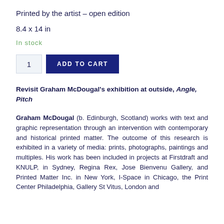Printed by the artist – open edition
8.4 x 14 in
In stock
1   ADD TO CART
Revisit Graham McDougal's exhibition at outside, Angle, Pitch
Graham McDougal (b. Edinburgh, Scotland) works with text and graphic representation through an intervention with contemporary and historical printed matter. The outcome of this research is exhibited in a variety of media: prints, photographs, paintings and multiples. His work has been included in projects at Firstdraft and KNULP, in Sydney, Regina Rex, Jose Bienvenu Gallery, and Printed Matter Inc. in New York, I-Space in Chicago, the Print Center Philadelphia, Gallery St Vitus, London and